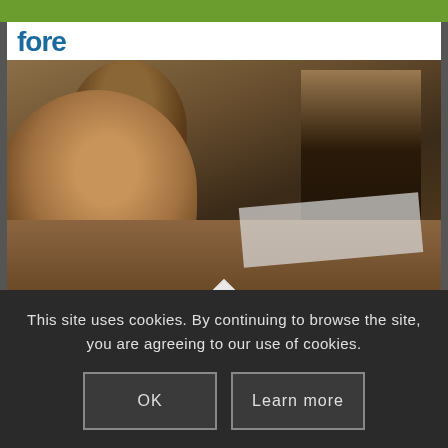[Figure (photo): Partial logo text visible at top of card, blue text reading 'fore' or similar]
[Figure (photo): Classroom photo showing several people seated at tables, appearing to be a training session in Madagascar]
TRAINING IN AGRICULTURAL ADVISOR PROFESSION – TOWARDS THE PROFESSIONALIZATION OF AGRICULTURAL ADVISORS IN MADAGASCAR
November 26, 2013
This site uses cookies. By continuing to browse the site, you are agreeing to our use of cookies.